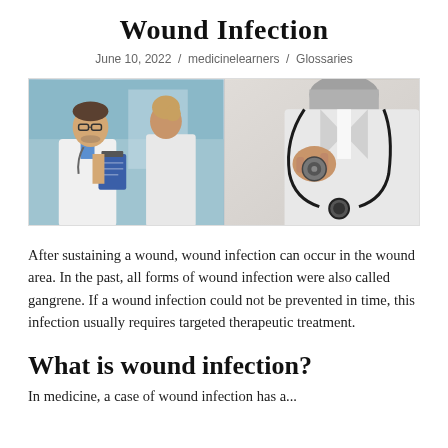Wound Infection
June 10, 2022  /  medicinelearners  /  Glossaries
[Figure (photo): Two-panel image: left panel shows a male doctor with glasses and stethoscope consulting with a female colleague, reviewing a clipboard; right panel shows an illustrated/sketch style image of a doctor holding a stethoscope.]
After sustaining a wound, wound infection can occur in the wound area. In the past, all forms of wound infection were also called gangrene. If a wound infection could not be prevented in time, this infection usually requires targeted therapeutic treatment.
What is wound infection?
In medicine, a case of wound infection has a...